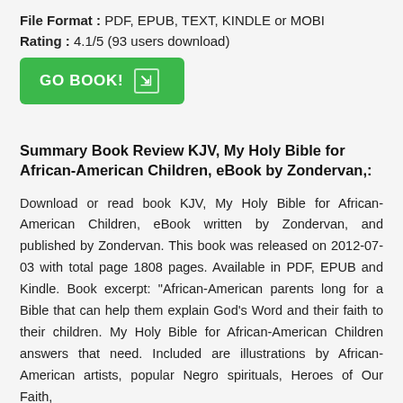File Format : PDF, EPUB, TEXT, KINDLE or MOBI
Rating : 4.1/5 (93 users download)
[Figure (other): Green 'GO BOOK!' button with arrow icon]
Summary Book Review KJV, My Holy Bible for African-American Children, eBook by Zondervan,:
Download or read book KJV, My Holy Bible for African-American Children, eBook written by Zondervan, and published by Zondervan. This book was released on 2012-07-03 with total page 1808 pages. Available in PDF, EPUB and Kindle. Book excerpt: "African-American parents long for a Bible that can help them explain God's Word and their faith to their children. My Holy Bible for African-American Children answers that need. Included are illustrations by African-American artists, popular Negro spirituals, Heroes of Our Faith,